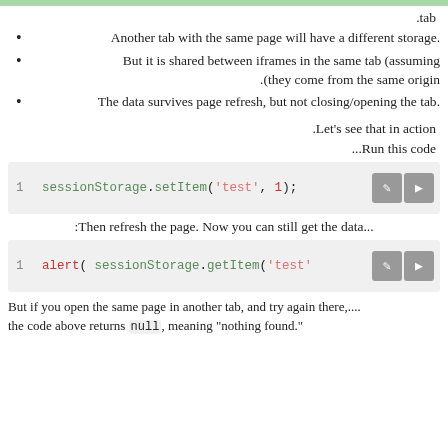.tab
.Another tab with the same page will have a different storage
But it is shared between iframes in the same tab (assuming they come from the same origin).
.The data survives page refresh, but not closing/opening the tab
.Let's see that in action
...Run this code
[Figure (screenshot): Code block: sessionStorage.setItem('test', 1);]
:Then refresh the page. Now you can still get the data...
[Figure (screenshot): Code block: alert( sessionStorage.getItem('test')]
But if you open the same page in another tab, and try again there,...
the code above returns null, meaning "nothing found".